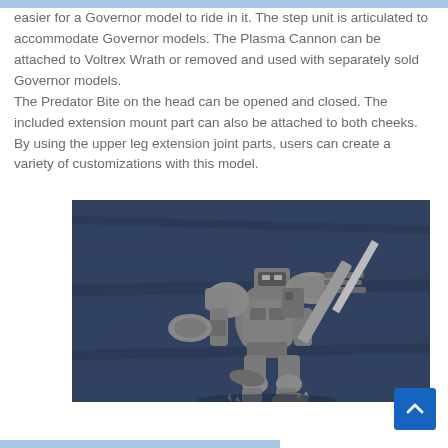easier for a Governor model to ride in it. The step unit is articulated to accommodate Governor models. The Plasma Cannon can be attached to Voltrex Wrath or removed and used with separately sold Governor models. The Predator Bite on the head can be opened and closed. The included extension mount part can also be attached to both cheeks. By using the upper leg extension joint parts, users can create a variety of customizations with this model.
[Figure (photo): A grey mecha/robot model (Voltrex Wrath) posed dynamically against a dark blue textured background. The model features articulated limbs, a plasma cannon, large shoulder pads, and detailed mechanical parts.]